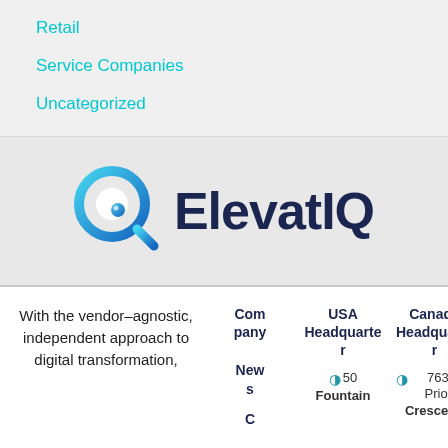Retail
Service Companies
Uncategorized
[Figure (logo): ElevatIQ logo with a blue magnifying glass icon and dark navy text reading ElevatIQ]
With the vendor–agnostic, independent approach to digital transformation,
| Company | USA Headquarter | Canada Headquarter |
| --- | --- | --- |
| News | 50 Fountain | 7631 Priory Crescent, |